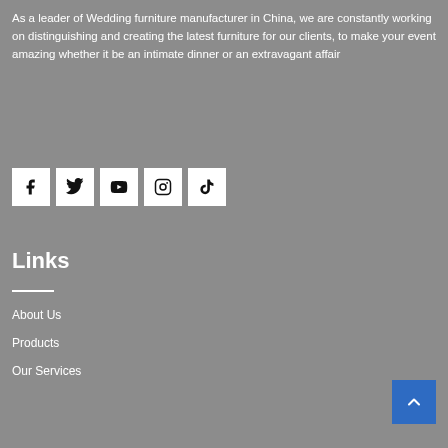As a leader of Wedding furniture manufacturer in China, we are constantly working on distinguishing and creating the latest furniture for our clients, to make your event amazing whether it be an intimate dinner or an extravagant affair
[Figure (infographic): Row of five social media icon buttons (Facebook, Twitter, YouTube, Instagram, TikTok) with white square backgrounds and black icons]
Links
About Us
Products
Our Services